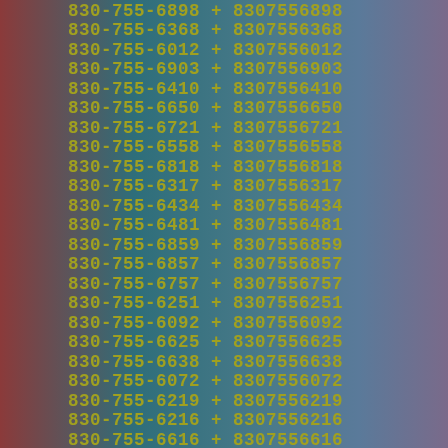830-755-6898 + 8307556898
830-755-6368 + 8307556368
830-755-6012 + 8307556012
830-755-6903 + 8307556903
830-755-6410 + 8307556410
830-755-6650 + 8307556650
830-755-6721 + 8307556721
830-755-6558 + 8307556558
830-755-6818 + 8307556818
830-755-6317 + 8307556317
830-755-6434 + 8307556434
830-755-6481 + 8307556481
830-755-6859 + 8307556859
830-755-6857 + 8307556857
830-755-6757 + 8307556757
830-755-6251 + 8307556251
830-755-6092 + 8307556092
830-755-6625 + 8307556625
830-755-6638 + 8307556638
830-755-6072 + 8307556072
830-755-6219 + 8307556219
830-755-6216 + 8307556216
830-755-6616 + 8307556616